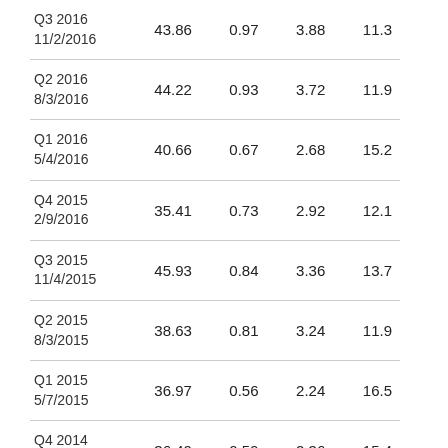| Q3 2016
11/2/2016 | 43.86 | 0.97 | 3.88 | 11.3 |
| Q2 2016
8/3/2016 | 44.22 | 0.93 | 3.72 | 11.9 |
| Q1 2016
5/4/2016 | 40.66 | 0.67 | 2.68 | 15.2 |
| Q4 2015
2/9/2016 | 35.41 | 0.73 | 2.92 | 12.1 |
| Q3 2015
11/4/2015 | 45.93 | 0.84 | 3.36 | 13.7 |
| Q2 2015
8/3/2015 | 38.63 | 0.81 | 3.24 | 11.9 |
| Q1 2015
5/7/2015 | 36.97 | 0.56 | 2.24 | 16.5 |
| Q4 2014
2/10/2015 | 36.40 | 0.59 | 2.36 | 15.4 |
| Q3 2014
11/6/2014 | 32.48 | 0.64 | 2.56 | 12.7 |